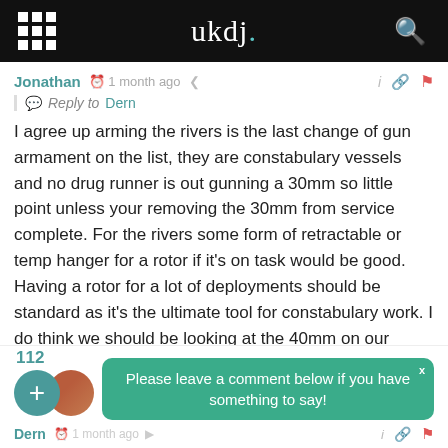ukdj.
Jonathan  1 month ago
Reply to Dern
I agree up arming the rivers is the last change of gun armament on the list, they are constabulary vessels and no drug runner is out gunning a 30mm so little point unless your removing the 30mm from service complete. For the rivers some form of retractable or temp hanger for a rotor if it’s on task would be good. Having a rotor for a lot of deployments should be standard as it’s the ultimate tool for constabulary work. I do think we should be looking at the 40mm on our major warships, it would be a great standard to… Read more »
Reply
112
Please leave a comment below if you have something to say!
Dern  1 month ago